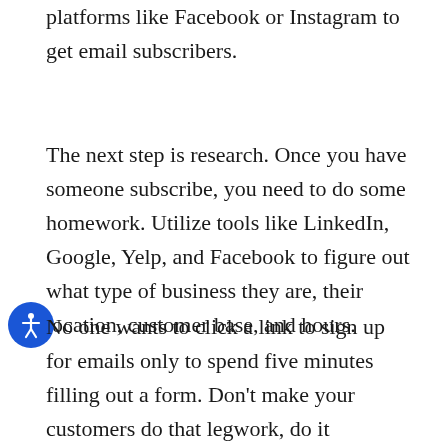platforms like Facebook or Instagram to get email subscribers.
The next step is research. Once you have someone subscribe, you need to do some homework. Utilize tools like LinkedIn, Google, Yelp, and Facebook to figure out what type of business they are, their location, customer base, and hours.
No one wants to click a link to sign up for emails only to spend five minutes filling out a form. Don’t make your customers do that legwork, do it yourself.